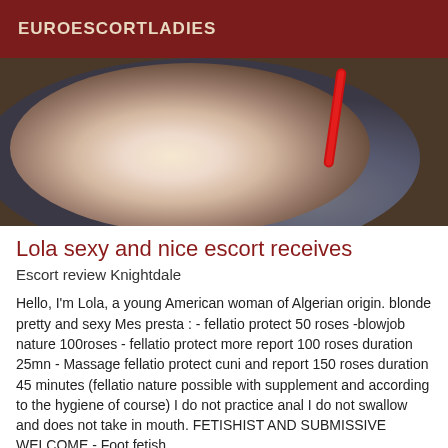EUROESCORTLADIES
[Figure (photo): A close-up photo showing a person's body, with a red strap/lingerie accent visible against a light skin tone background with blue fabric.]
Lola sexy and nice escort receives
Escort review Knightdale
Hello, I'm Lola, a young American woman of Algerian origin. blonde pretty and sexy Mes presta : - fellatio protect 50 roses -blowjob nature 100roses - fellatio protect more report 100 roses duration 25mn - Massage fellatio protect cuni and report 150 roses duration 45 minutes (fellatio nature possible with supplement and according to the hygiene of course) I do not practice anal I do not swallow and does not take in mouth. FETISHIST AND SUBMISSIVE WELCOME - Foot fetish